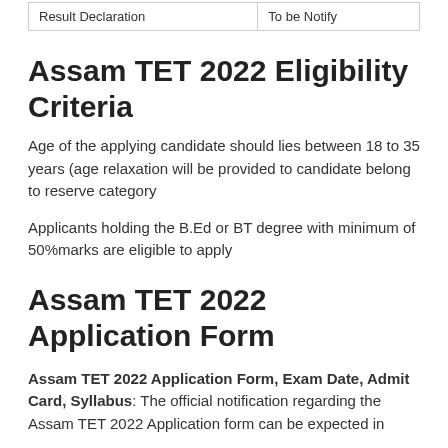| Result Declaration | To be Notify |
| --- | --- |
Assam TET 2022 Eligibility Criteria
Age of the applying candidate should lies between 18 to 35 years (age relaxation will be provided to candidate belong to reserve category
Applicants holding the B.Ed or BT degree with minimum of 50%marks are eligible to apply
Assam TET 2022 Application Form
Assam TET 2022 Application Form, Exam Date, Admit Card, Syllabus: The official notification regarding the Assam TET 2022 Application form can be expected in